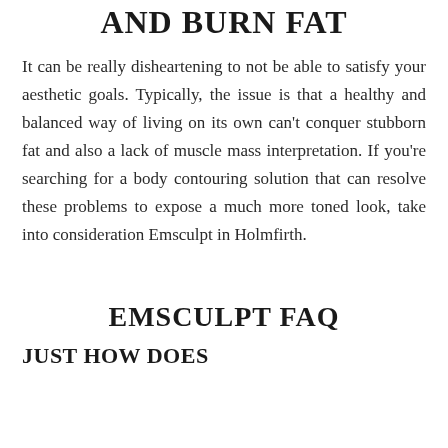AND BURN FAT
It can be really disheartening to not be able to satisfy your aesthetic goals. Typically, the issue is that a healthy and balanced way of living on its own can't conquer stubborn fat and also a lack of muscle mass interpretation. If you're searching for a body contouring solution that can resolve these problems to expose a much more toned look, take into consideration Emsculpt in Holmfirth.
EMSCULPT FAQ
JUST HOW DOES